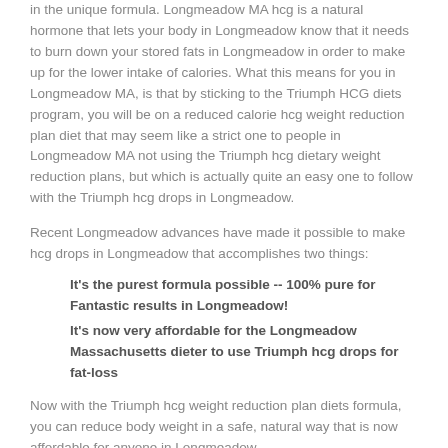in the unique formula. Longmeadow MA hcg is a natural hormone that lets your body in Longmeadow know that it needs to burn down your stored fats in Longmeadow in order to make up for the lower intake of calories. What this means for you in Longmeadow MA, is that by sticking to the Triumph HCG diets program, you will be on a reduced calorie hcg weight reduction plan diet that may seem like a strict one to people in Longmeadow MA not using the Triumph hcg dietary weight reduction plans, but which is actually quite an easy one to follow with the Triumph hcg drops in Longmeadow.
Recent Longmeadow advances have made it possible to make hcg drops in Longmeadow that accomplishes two things:
It’s the purest formula possible -- 100% pure for Fantastic results in Longmeadow!
It’s now very affordable for the Longmeadow Massachusetts dieter to use Triumph hcg drops for fat-loss
Now with the Triumph hcg weight reduction plan diets formula, you can reduce body weight in a safe, natural way that is now affordable for anyone in Longmeadow.
The Four Benefits of the Triumph Hcg